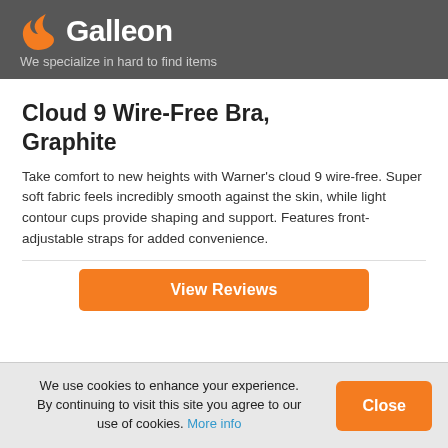Galleon — We specialize in hard to find items
Cloud 9 Wire-Free Bra, Graphite
Take comfort to new heights with Warner's cloud 9 wire-free. Super soft fabric feels incredibly smooth against the skin, while light contour cups provide shaping and support. Features front-adjustable straps for added convenience.
View Reviews
We use cookies to enhance your experience. By continuing to visit this site you agree to our use of cookies. More info